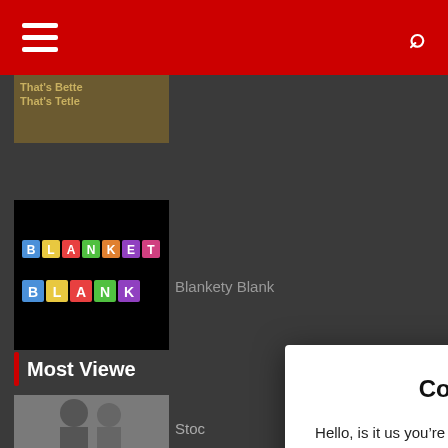[Figure (screenshot): Red navigation bar with hamburger menu icon on left and search icon on right]
[Figure (screenshot): Thumbnail image partially visible - That's Better That's Tetley text]
[Figure (screenshot): Blankety Blank logo thumbnail - black background with colorful letter tiles]
Blankety Blank
[Figure (screenshot): TV Times logo thumbnail - red TV Times logo on white background]
TV T
Most Viewe
[Figure (screenshot): Black and white photo thumbnail at bottom left]
Stoc
[Figure (screenshot): Cookie consent modal dialog overlay]
Cookie Consent
Hello, is it us you’re looking for (ahem!). We use cookies to improve your experience of our site. By using this website, we assume you consent to all cookies in accordance with our Cookie Policy, you can however, opt out of this.
Accept
Reject
Cookie settings